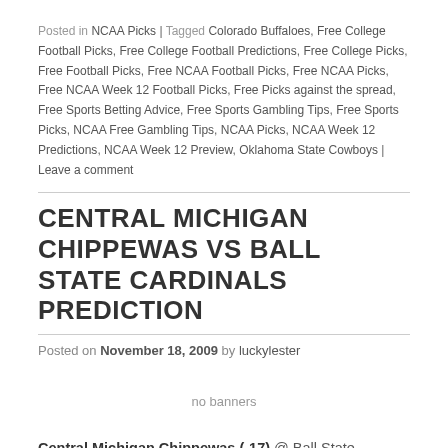Posted in NCAA Picks | Tagged Colorado Buffaloes, Free College Football Picks, Free College Football Predictions, Free College Picks, Free Football Picks, Free NCAA Football Picks, Free NCAA Picks, Free NCAA Week 12 Football Picks, Free Picks against the spread, Free Sports Betting Advice, Free Sports Gambling Tips, Free Sports Picks, NCAA Free Gambling Tips, NCAA Picks, NCAA Week 12 Predictions, NCAA Week 12 Preview, Oklahoma State Cowboys | Leave a comment
CENTRAL MICHIGAN CHIPPEWAS VS BALL STATE CARDINALS PREDICTION
Posted on November 18, 2009 by luckylester
no banners
Central Michigan Chippewas (-17) @ Ball State Cardinals Prediction: Dan LeFevour isn't to be messed with. The kid has